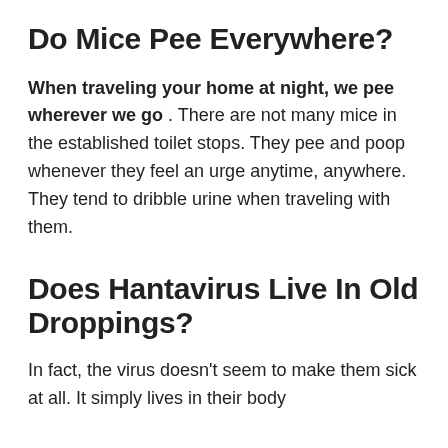Do Mice Pee Everywhere?
When traveling your home at night, we pee wherever we go. There are not many mice in the established toilet stops. They pee and poop whenever they feel an urge anytime, anywhere. They tend to dribble urine when traveling with them.
Does Hantavirus Live In Old Droppings?
In fact, the virus doesn't seem to make them sick at all. It simply lives in their body